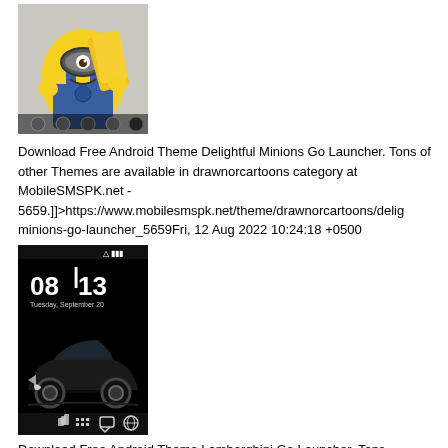[Figure (screenshot): Screenshot of a mobile phone home screen with a Minions (cartoon characters) theme showing a minion holding bananas]
Download Free Android Theme Delightful Minions Go Launcher. Tons of other Themes are available in drawnorcartoons category at MobileSMSPK.net - 5659.]]>https://www.mobilesmspk.net/theme/drawnorcartoons/delig minions-go-launcher_5659Fri, 12 Aug 2022 10:24:18 +0500
[Figure (screenshot): Screenshot of a mobile phone lock screen showing time 08:13, Tuesday September 20, with a dark Lamborghini car theme]
Download Free Android Theme Lamborghini Go Launcher. Tons